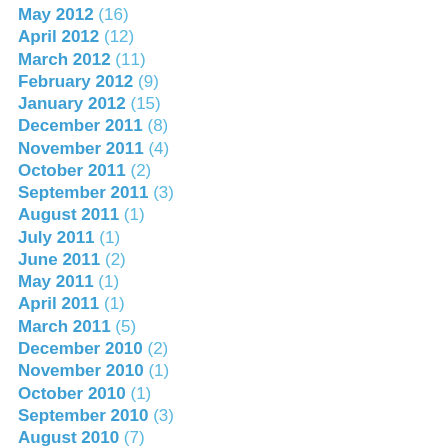May 2012 (16)
April 2012 (12)
March 2012 (11)
February 2012 (9)
January 2012 (15)
December 2011 (8)
November 2011 (4)
October 2011 (2)
September 2011 (3)
August 2011 (1)
July 2011 (1)
June 2011 (2)
May 2011 (1)
April 2011 (1)
March 2011 (5)
December 2010 (2)
November 2010 (1)
October 2010 (1)
September 2010 (3)
August 2010 (7)